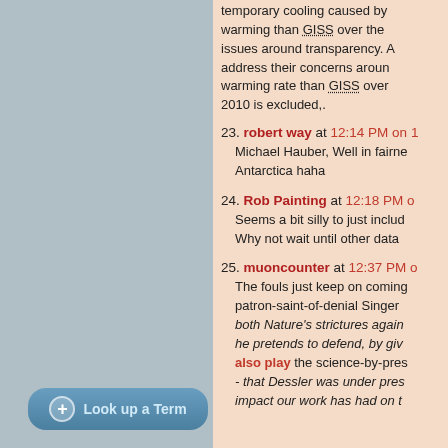temporary cooling caused by warming than GISS over the issues around transparency. A address their concerns around warming rate than GISS over 2010 is excluded,.
23. robert way at 12:14 PM on 1 — Michael Hauber, Well in fairne Antarctica haha
24. Rob Painting at 12:18 PM o — Seems a bit silly to just includ Why not wait until other data
25. muoncounter at 12:37 PM o — The fouls just keep on coming patron-saint-of-denial Singer both Nature's strictures again he pretends to defend, by giv also play the science-by-pres - that Dessler was under pres impact our work has had on t
Look up a Term